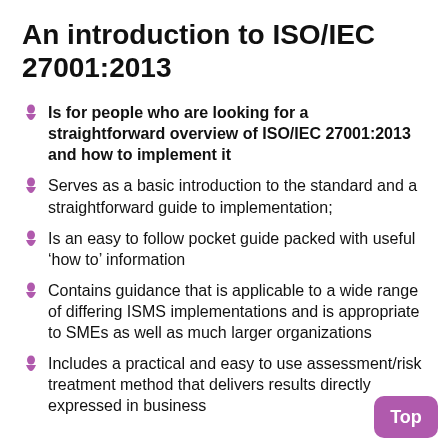An introduction to ISO/IEC 27001:2013
Is for people who are looking for a straightforward overview of ISO/IEC 27001:2013 and how to implement it
Serves as a basic introduction to the standard and a straightforward guide to implementation;
Is an easy to follow pocket guide packed with useful ‘how to’ information
Contains guidance that is applicable to a wide range of differing ISMS implementations and is appropriate to SMEs as well as much larger organizations
Includes a practical and easy to use assessment/risk treatment method that delivers results directly expressed in business